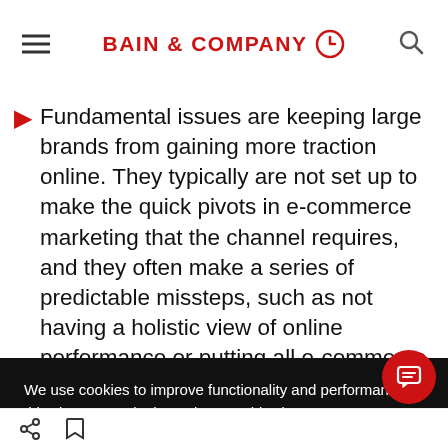BAIN & COMPANY
Fundamental issues are keeping large brands from gaining more traction online. They typically are not set up to make the quick pivots in e-commerce marketing that the channel requires, and they often make a series of predictable missteps, such as not having a holistic view of online performance or putting all e-commerce marketing in the
We use cookies to improve functionality and performance of this site. By continuing to browse this site, you consent to the use of cookies.
ACCEPT ALL COOKIES